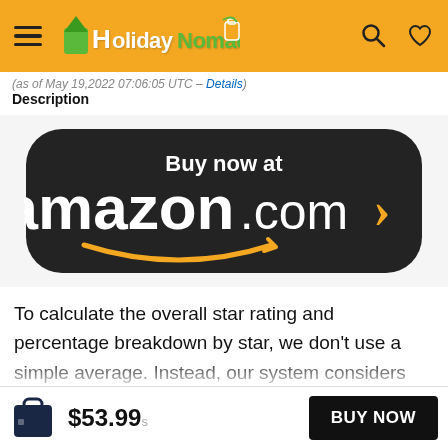HolidayNomad (logo header with hamburger menu, search and heart icons)
(as of May 19,2022 07:06:05 UTC – Details)
Description
[Figure (logo): Buy now at amazon.com > button with Amazon smile logo on dark background]
To calculate the overall star rating and percentage breakdown by star, we don't use a simple average. Instead, our system considers things like how recent a review is and if the reviewer bought the item on Amazon. It also analyzed reviews to verify
$53.99  BUY NOW